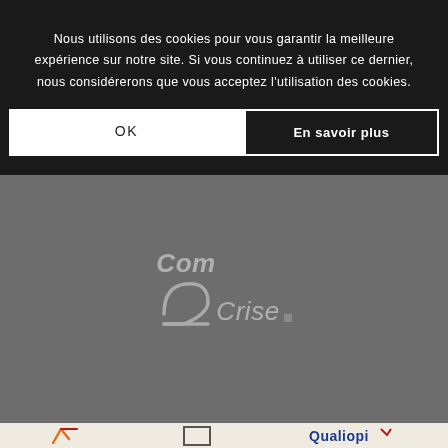Nous utilisons des cookies pour vous garantir la meilleure expérience sur notre site. Si vous continuez à utiliser ce dernier, nous considérerons que vous acceptez l'utilisation des cookies.
OK
En savoir plus
[Figure (logo): Com2Crise logo in gray italic text on gray background]
[Figure (logo): Bottom bar with certification logos including Qualiopi]